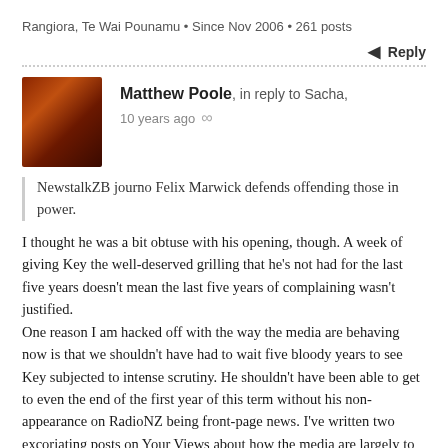Rangiora, Te Wai Pounamu • Since Nov 2006 • 261 posts
↑ Reply
Matthew Poole, in reply to Sacha, 10 years ago ∞
NewstalkZB journo Felix Marwick defends offending those in power.
I thought he was a bit obtuse with his opening, though. A week of giving Key the well-deserved grilling that he's not had for the last five years doesn't mean the last five years of complaining wasn't justified.
One reason I am hacked off with the way the media are behaving now is that we shouldn't have had to wait five bloody years to see Key subjected to intense scrutiny. He shouldn't have been able to get to even the end of the first year of this term without his non-appearance on RadioNZ being front-page news. I've written two excoriating posts on Your Views about how the media are largely to blame for